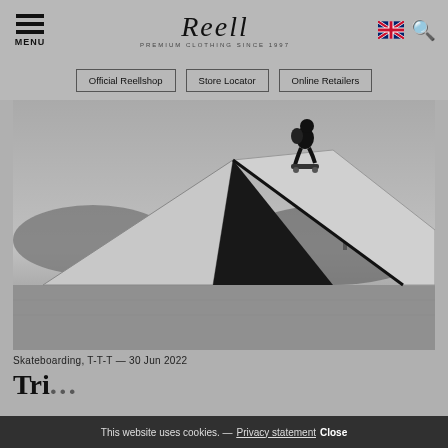MENU | Reell PREMIUM CLOTHING SINCE 1997 | [UK flag] [Search]
Official Reellshop
Store Locator
Online Retailers
[Figure (photo): Black and white photo of a skateboarder performing a trick over a large angular concrete pyramid ramp at a skatepark, with trees and grass visible in the background]
Skateboarding, T-T-T — 30 Jun 2022
Tri...
This website uses cookies. — Privacy statement Close